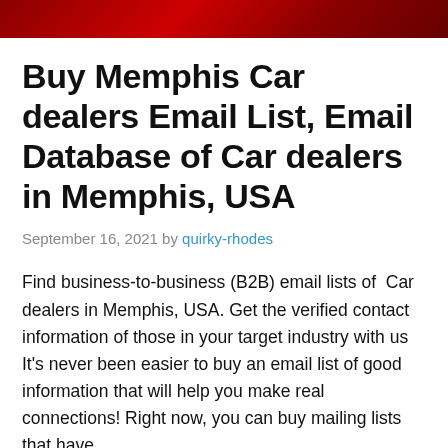[Figure (photo): Red background header image, partial view of cars or automotive-related photo in red tones]
Buy Memphis Car dealers Email List, Email Database of Car dealers in Memphis, USA
September 16, 2021 by quirky-rhodes
Find business-to-business (B2B) email lists of Car dealers in Memphis, USA. Get the verified contact information of those in your target industry with us It’s never been easier to buy an email list of good information that will help you make real connections! Right now, you can buy mailing lists that have